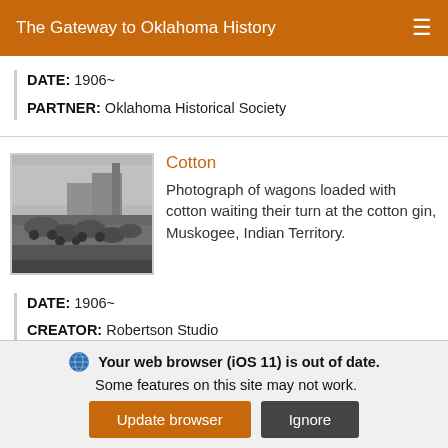The Gateway to Oklahoma History
DATE: 1906~
PARTNER: Oklahoma Historical Society
[Figure (photo): Black and white photograph of wagons loaded with cotton waiting their turn at the cotton gin, Muskogee, Indian Territory.]
Cotton
Photograph of wagons loaded with cotton waiting their turn at the cotton gin, Muskogee, Indian Territory.
DATE: 1906~
CREATOR: Robertson Studio
Your web browser (iOS 11) is out of date. Some features on this site may not work.